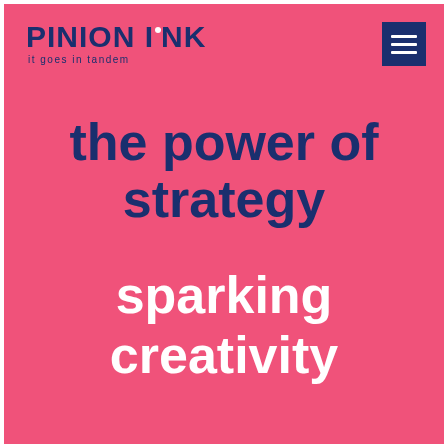[Figure (logo): Pinion Ink logo with text 'PINION INK' in dark navy bold font and tagline 'it goes in tandem' below, on a pink background]
[Figure (other): Dark navy blue square hamburger/menu button icon with three horizontal white lines, positioned top right]
the power of strategy
sparking creativity